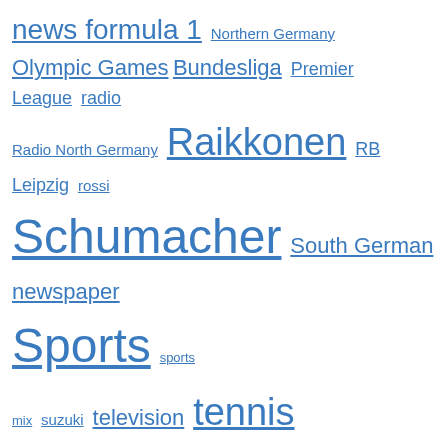news formula 1  Northern Germany  Olympic Games  Bundesliga  Premier League  radio  Radio North Germany  Raikkonen  RB Leipzig  rossi  Schumacher  South German newspaper  Sports  sports mix  suzuki  television  tennis  The best football  Wimbledon  Wm  yamaha
We use cookies on our website to give you the most relevant experience by remembering your preferences and repeat visits. By clicking "Accept All", you consent to the use of ALL the cookies. However, you may visit "Cookie Settings" to provide a controlled consent.